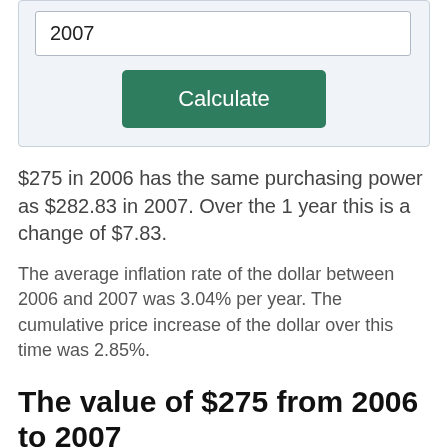2007
Calculate
$275 in 2006 has the same purchasing power as $282.83 in 2007. Over the 1 year this is a change of $7.83.
The average inflation rate of the dollar between 2006 and 2007 was 3.04% per year. The cumulative price increase of the dollar over this time was 2.85%.
The value of $275 from 2006 to 2007